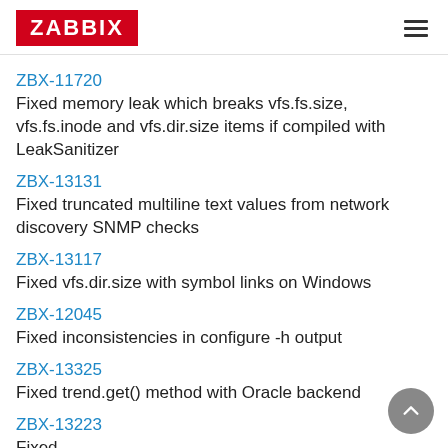ZABBIX
ZBX-11720
Fixed memory leak which breaks vfs.fs.size, vfs.fs.inode and vfs.dir.size items if compiled with LeakSanitizer
ZBX-13131
Fixed truncated multiline text values from network discovery SNMP checks
ZBX-13117
Fixed vfs.dir.size with symbol links on Windows
ZBX-12045
Fixed inconsistencies in configure -h output
ZBX-13325
Fixed trend.get() method with Oracle backend
ZBX-13223
Fixed...